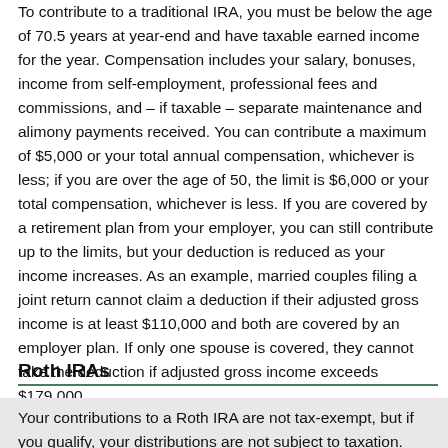To contribute to a traditional IRA, you must be below the age of 70.5 years at year-end and have taxable earned income for the year. Compensation includes your salary, bonuses, income from self-employment, professional fees and commissions, and – if taxable – separate maintenance and alimony payments received. You can contribute a maximum of $5,000 or your total annual compensation, whichever is less; if you are over the age of 50, the limit is $6,000 or your total compensation, whichever is less. If you are covered by a retirement plan from your employer, you can still contribute up to the limits, but your deduction is reduced as your income increases. As an example, married couples filing a joint return cannot claim a deduction if their adjusted gross income is at least $110,000 and both are covered by an employer plan. If only one spouse is covered, they cannot take the deduction if adjusted gross income exceeds $179,000.
Roth IRAs
Your contributions to a Roth IRA are not tax-exempt, but if you qualify, your distributions are not subject to taxation. Your income